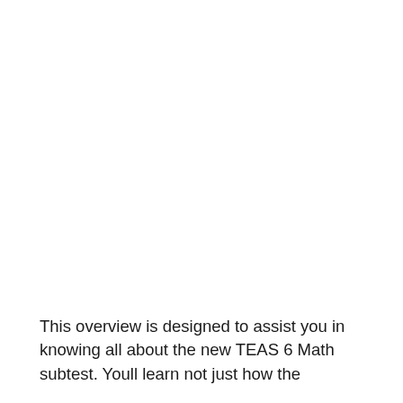This overview is designed to assist you in knowing all about the new TEAS 6 Math subtest. Youll learn not just how the